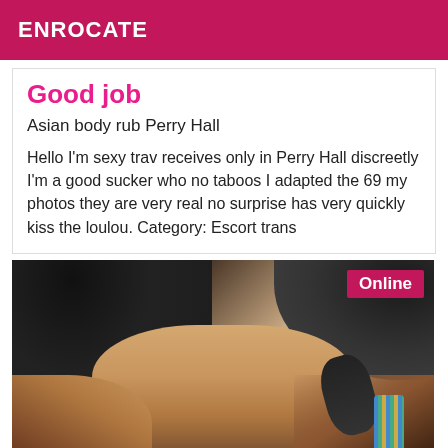ENROCATE
Good job
Asian body rub Perry Hall
Hello I'm sexy trav receives only in Perry Hall discreetly I'm a good sucker who no taboos I adapted the 69 my photos they are very real no surprise has very quickly kiss the loulou. Category: Escort trans
[Figure (photo): Close-up photo of a person with dark hair showing neck and shoulders, with an 'Online' badge in the top right corner]